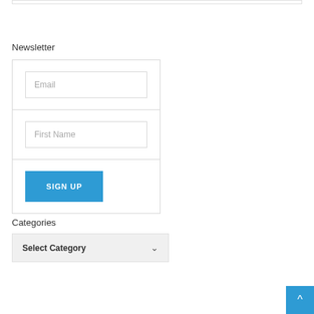Newsletter
[Figure (screenshot): Newsletter signup form with Email input field, First Name input field, and a SIGN UP button]
Categories
[Figure (screenshot): Select Category dropdown widget with chevron arrow on the right]
[Figure (other): Scroll to top button (blue square with upward chevron arrow)]